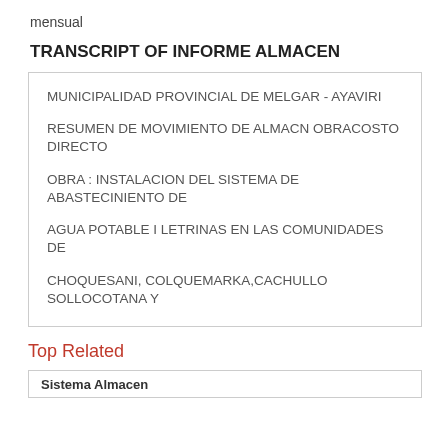mensual
TRANSCRIPT OF INFORME ALMACEN
MUNICIPALIDAD PROVINCIAL DE MELGAR - AYAVIRI RESUMEN DE MOVIMIENTO DE ALMACN OBRACOSTO DIRECTO OBRA : INSTALACION DEL SISTEMA DE ABASTECINIENTO DE AGUA POTABLE I LETRINAS EN LAS COMUNIDADES DE CHOQUESANI, COLQUEMARKA,CACHULLO SOLLOCOTANA Y SECTORES ALEDAOS DEL DISTRTO DE ORURILLO : PROVINCIA DE MELGAR-PUNOAFECTACION PRESUPUESTAL : COSTO DIRECTOMETA : 0084ENTIDAD EJECUTORA : MUNICIPALIDAD PROVINCIAL DE AYAVIRI- MELGAR DESCRIPCION U.MMES DE AGOSTO
Top Related
Sistema Almacen